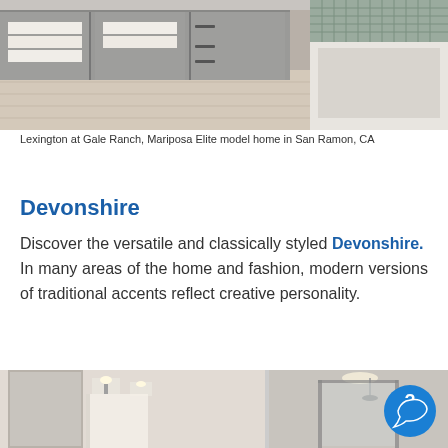[Figure (photo): Interior bathroom photo showing gray cabinets with open shelving, white towels, and a bathtub with mosaic tile accent wall]
Lexington at Gale Ranch, Mariposa Elite model home in San Ramon, CA
Devonshire
Discover the versatile and classically styled Devonshire.  In many areas of the home and fashion, modern versions of traditional accents reflect creative personality.
[Figure (photo): Interior bathroom photo showing vanity area with wall sconce lighting on left, and a walk-in shower with glass door on right, neutral tones]